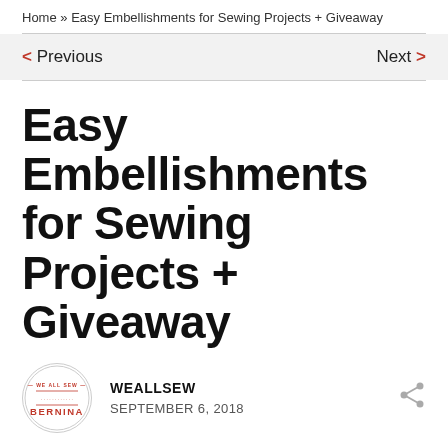Home » Easy Embellishments for Sewing Projects + Giveaway
< Previous    Next >
Easy Embellishments for Sewing Projects + Giveaway
WEALLSEW
SEPTEMBER 6, 2018
Welcome to our 125 years celebration of the BERNINA company! We're celebrating by bringing you lots of